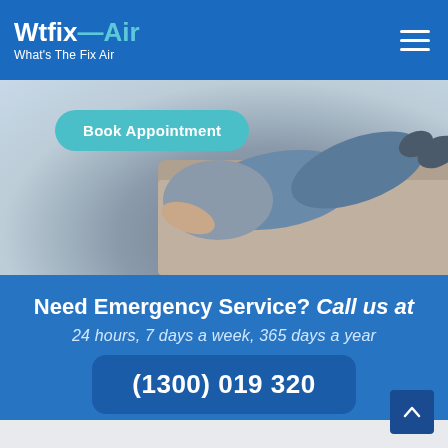Wtfix-Air What's The Fix Air
[Figure (photo): Person relaxing on a sofa, lower body visible wearing jeans, background shows couch cushions]
Book Appointment
Need Emergency Service? Call us at
24 hours, 7 days a week, 365 days a year
(1300) 019 320